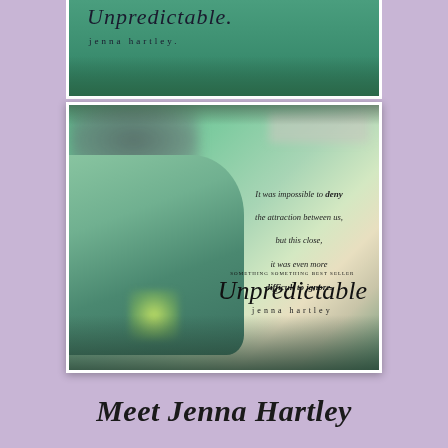[Figure (photo): Top portion of a book cover for 'Unpredictable' by Jenna Hartley, showing script title text and author name against a dark green background with hands visible]
[Figure (photo): Book teaser graphic for 'Unpredictable' by Jenna Hartley. Shows a couple (blonde woman and dark-haired man) facing each other about to kiss, with a quote: 'It was impossible to deny the attraction between us, but this close, it was even more difficult to ignore.' Book title 'Unpredictable' and author name 'jenna hartley' are overlaid on the image.]
Meet Jenna Hartley